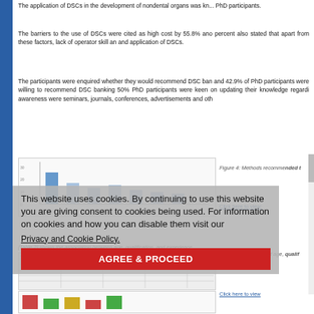The application of DSCs in the development of nondental organs was kn... PhD participants.
The barriers to the use of DSCs were cited as high cost by 55.8% and... percent also stated that apart from these factors, lack of operator skill an... and application of DSCs.
The participants were enquired whether they would recommend DSC ban... and 42.9% of PhD participants were willing to recommend DSC banking... 50% PhD participants were keen on updating their knowledge regardi... awareness were seminars, journals, conferences, advertisements and oth...
[Figure (bar-chart): Partially visible bar chart showing methods recommended to increase awareness]
Figure 4: Methods recommended t...
Click here to view:
[Table 2] shows the association between age, qualification, and experience...
Table 2: Association of age, qualif...
stem cells (DSCs)
[Figure (table-as-image): Partially visible table showing association data]
Click here to view
This website uses cookies. By continuing to use this website you are giving consent to cookies being used. For information on cookies and how you can disable them visit our
Privacy and Cookie Policy.
[Figure (bar-chart): Bottom partially visible bar chart]